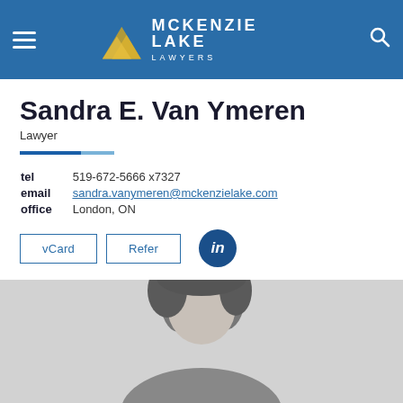[Figure (screenshot): McKenzie Lake Lawyers website header with navigation hamburger menu, gold/yellow arrow logo, white text MCKENZIE LAKE LAWYERS, and search icon on blue background]
Sandra E. Van Ymeren
Lawyer
tel  519-672-5666 x7327
email  sandra.vanymeren@mckenzielake.com
office  London, ON
vCard  Refer  [LinkedIn icon]
[Figure (photo): Black and white portrait photo of Sandra E. Van Ymeren, a woman with shoulder-length brunette hair, cropped at the top of the frame]